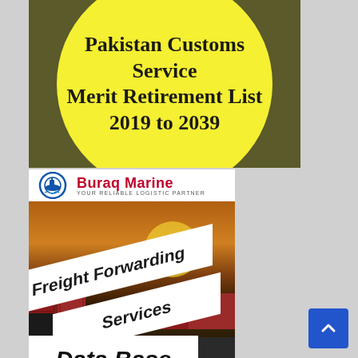[Figure (illustration): Yellow circle on olive/dark background with bold text: Pakistan Customs Service Merit Retirement List 2019 to 2039]
[Figure (illustration): Buraq Marine logo (blue circular ship icon, red bold company name, tagline YOUR RELIABLE LOGISTIC PARTNER) above a freight forwarding scene with containers and trucks, white diagonal banners reading Freight Forwarding Services]
[Figure (illustration): White box with bold italic text: Data Base (partially visible, more text cut off below)]